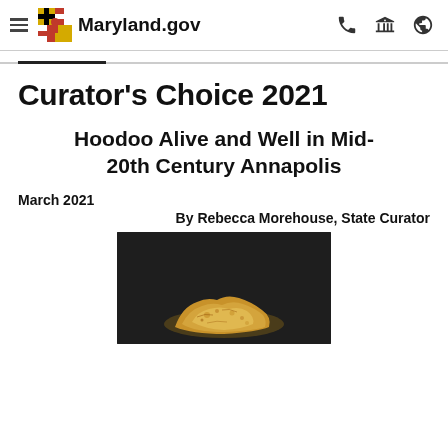Maryland.gov
Curator's Choice 2021
Hoodoo Alive and Well in Mid-20th Century Annapolis
March 2021
By Rebecca Morehouse, State Curator
[Figure (photo): Photograph of a hoodoo artifact (small golden/ochre colored organic material) on a dark background]